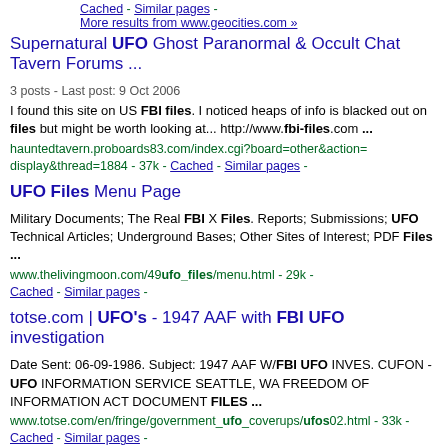Cached - Similar pages - More results from www.geocities.com »
Supernatural UFO Ghost Paranormal & Occult Chat Tavern Forums ...
3 posts - Last post: 9 Oct 2006
I found this site on US FBI files. I noticed heaps of info is blacked out on files but might be worth looking at... http://www.fbi-files.com ...
hauntedtavern.proboards83.com/index.cgi?board=other&action=display&thread=1884 - 37k - Cached - Similar pages -
UFO Files Menu Page
Military Documents; The Real FBI X Files. Reports; Submissions; UFO Technical Articles; Underground Bases; Other Sites of Interest; PDF Files ...
www.thelivingmoon.com/49ufo_files/menu.html - 29k - Cached - Similar pages -
totse.com | UFO's - 1947 AAF with FBI UFO investigation
Date Sent: 06-09-1986. Subject: 1947 AAF W/FBI UFO INVES. CUFON - UFO INFORMATION SERVICE SEATTLE, WA FREEDOM OF INFORMATION ACT DOCUMENT FILES ...
www.totse.com/en/fringe/government_ufo_coverups/ufos02.html - 33k - Cached - Similar pages -
Troubled Times: FBI Files
The FBI file has a memorandum which indicates that when Jimmy Carter became President he did query government agencies about their UFO activities...